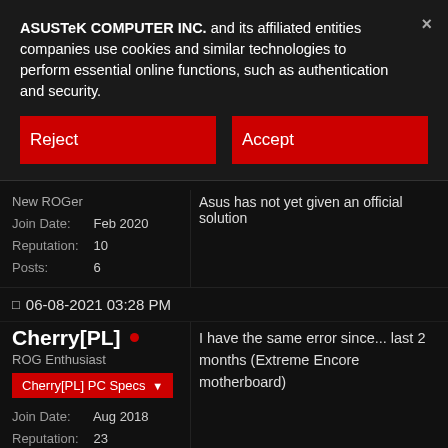ASUSTeK COMPUTER INC. and its affiliated entities companies use cookies and similar technologies to perform essential online functions, such as authentication and security.
Reject
Accept
New ROGer
Join Date: Feb 2020
Reputation: 10
Posts: 6
Asus has not yet given an official solution
06-08-2021 03:28 PM
Cherry[PL] •
ROG Enthusiast
Cherry[PL] PC Specs ▼
Join Date: Aug 2018
Reputation: 23
Posts: 47
I have the same error since... last 2 months (Extreme Encore motherboard)